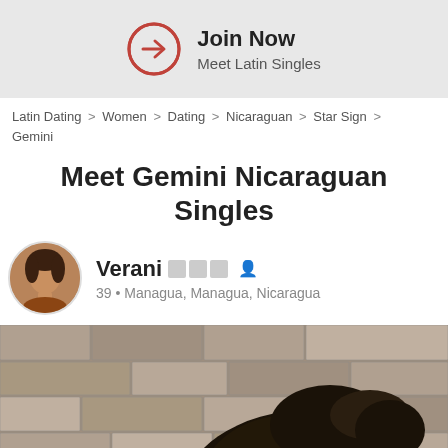[Figure (infographic): Join Now banner with circular arrow icon and text 'Join Now / Meet Latin Singles' on grey background]
Latin Dating > Women > Dating > Nicaraguan > Star Sign > Gemini
Meet Gemini Nicaraguan Singles
[Figure (photo): Circular profile photo of Verani, a woman, cropped to circle shape]
Verani 🔲🔲🔲 👤
39 • Managua, Managua, Nicaragua
[Figure (photo): Large photo showing a person's head with dark hair against a stone wall background]